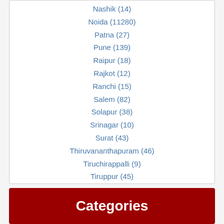Nashik (14)
Noida (11280)
Patna (27)
Pune (139)
Raipur (18)
Rajkot (12)
Ranchi (15)
Salem (82)
Solapur (38)
Srinagar (10)
Surat (43)
Thiruvananthapuram (46)
Tiruchirappalli (9)
Tiruppur (45)
Vadodara (33)
Varanasi (28)
Vijayawada (33)
Visakhapatnam (62)
Categories